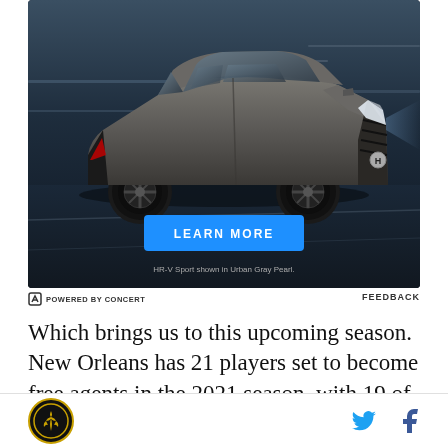[Figure (photo): Honda HR-V Sport SUV advertisement showing the vehicle in Urban Gray Pearl color on a dark background road surface, with a blue LEARN MORE button and disclaimer text 'HR-V Sport shown in Urban Gray Pearl.']
HR-V Sport shown in Urban Gray Pearl.
Ⓔ POWERED BY CONCERT
FEEDBACK
Which brings us to this upcoming season. New Orleans has 21 players set to become free agents in the 2021 season, with 19 of those as unrestricted free
New Orleans Saints logo with Twitter and Facebook social icons